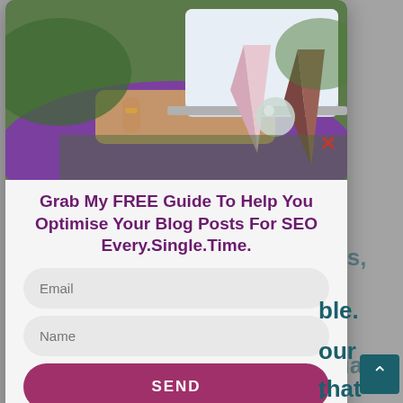[Figure (photo): Popup modal overlay on a webpage. The modal contains a photo of a person working at a laptop with crystals (rose quartz tower, brown crystal tower, crystal ball) on a table in the foreground. Below the photo is a heading, two input fields, and a send button.]
Grab My FREE Guide To Help You Optimise Your Blog Posts For SEO Every.Single.Time.
Email
Name
SEND